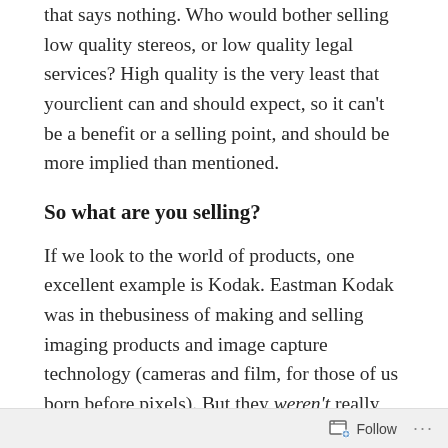that says nothing. Who would bother selling low quality stereos, or low quality legal services? High quality is the very least that yourclient can and should expect, so it can't be a benefit or a selling point, and should be more implied than mentioned.
So what are you selling?
If we look to the world of products, one excellent example is Kodak. Eastman Kodak was in thebusiness of making and selling imaging products and image capture technology (cameras and film, for those of us born before pixels). But they weren't really selling their programs, film or cameras. Kodak was actually selling you feelings and memories – in fact, they were selling you your memories. They were selling you the look on your mother's face when she watched you get married (finally!), the way you feel
Follow ···